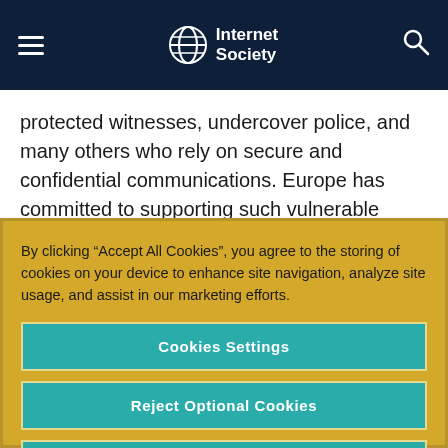Internet Society
protected witnesses, undercover police, and many others who rely on secure and confidential communications. Europe has committed to supporting such vulnerable groups.
By clicking “Accept All Cookies”, you agree to the storing of cookies on your device to enhance site navigation, analyze site usage, and assist in our marketing efforts.
Cookies Settings
Reject Optional Cookies
Accept All Cookies